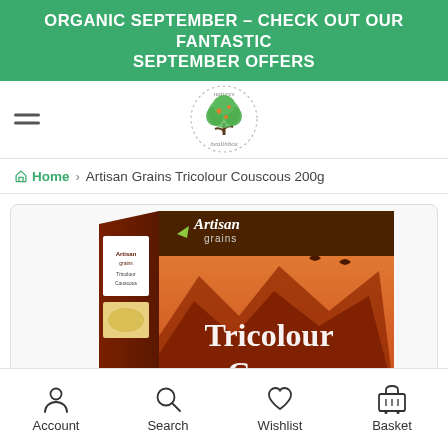ORGANIC SEPTEMBER - CHECK OUT OUR FANTASTIC SEPTEMBER OFFERS
[Figure (logo): Natures Healthbox logo - a tree with green and orange leaves inside a dotted circle]
Home › Artisan Grains Tricolour Couscous 200g
[Figure (photo): Artisan Grains Tricolour Couscous 200g product box - brown and red box with mountain scenery and birds, showing 'Artisan grains' brand and 'Tricolour Couscous' text]
Account  Search  Wishlist  Basket